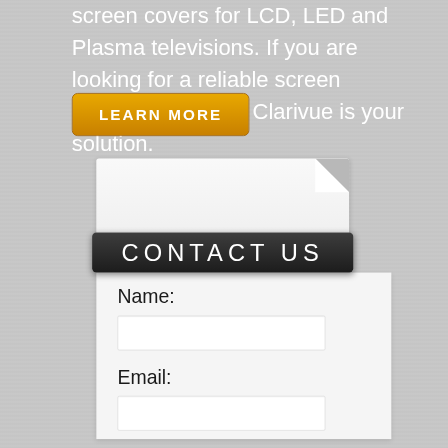screen covers for LCD, LED and Plasma televisions. If you are looking for a reliable screen protector supplier, Clarivue is your solution.
[Figure (screenshot): Yellow 'LEARN MORE' button with rounded corners]
[Figure (infographic): Contact Us form card with paper-curl top, dark black header band reading 'CONTACT US', Name label with input field, Email label with input field, on a gray striped background.]